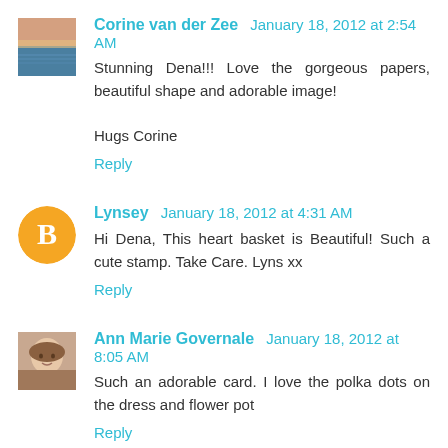[Figure (photo): Avatar photo of Corine van der Zee showing a seascape/ocean scene]
Corine van der Zee January 18, 2012 at 2:54 AM
Stunning Dena!!! Love the gorgeous papers, beautiful shape and adorable image!

Hugs Corine
Reply
[Figure (logo): Orange circle with white blogger B logo for Lynsey]
Lynsey January 18, 2012 at 4:31 AM
Hi Dena, This heart basket is Beautiful! Such a cute stamp. Take Care. Lyns xx
Reply
[Figure (photo): Avatar photo of Ann Marie Governale showing a woman's face]
Ann Marie Governale January 18, 2012 at 8:05 AM
Such an adorable card. I love the polka dots on the dress and flower pot
Reply